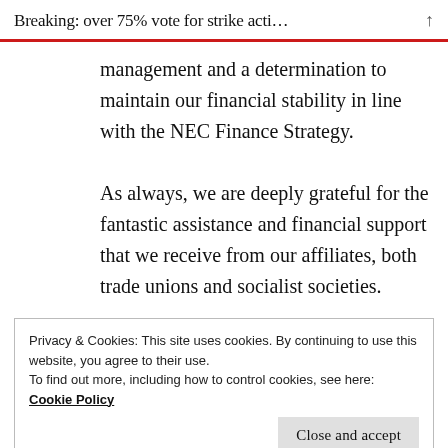Breaking: over 75% vote for strike acti...
management and a determination to maintain our financial stability in line with the NEC Finance Strategy. As always, we are deeply grateful for the fantastic assistance and financial support that we receive from our affiliates, both trade unions and socialist societies.
Privacy & Cookies: This site uses cookies. By continuing to use this website, you agree to their use.
To find out more, including how to control cookies, see here: Cookie Policy
Close and accept